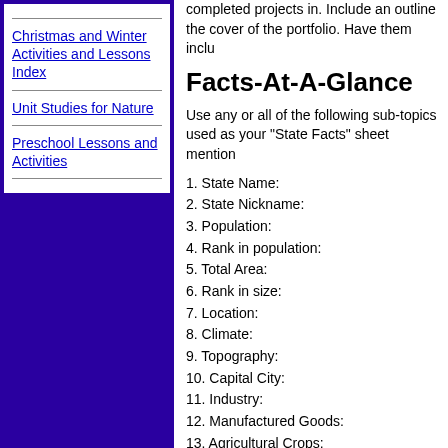Christmas and Winter Activities and Lessons Index
Unit Studies for Nature
Preschool Lessons and Activities
completed projects in. Include an outline the cover of the portfolio. Have them inclu
Facts-At-A-Glance
Use any or all of the following sub-topics used as your "State Facts" sheet mention
1. State Name:
2. State Nickname:
3. Population:
4. Rank in population:
5. Total Area:
6. Rank in size:
7. Location:
8. Climate:
9. Topography:
10. Capital City:
11. Industry:
12. Manufactured Goods:
13. Agricultural Crops:
14. Livestock:
15. Fishing:
16. Mining:
17. State Motto:
18. State Flower:
19. State Bird:
20. State Tree:
21. State Song:
22. Date State Entered Union: